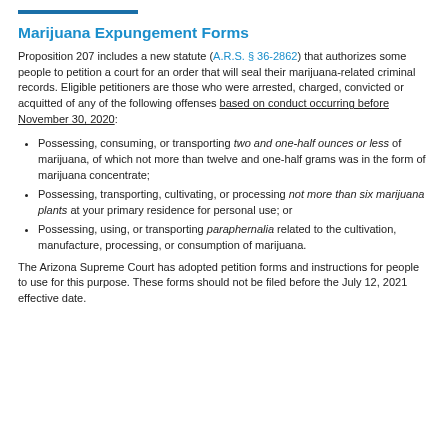Marijuana Expungement Forms
Proposition 207 includes a new statute (A.R.S. § 36-2862) that authorizes some people to petition a court for an order that will seal their marijuana-related criminal records. Eligible petitioners are those who were arrested, charged, convicted or acquitted of any of the following offenses based on conduct occurring before November 30, 2020:
Possessing, consuming, or transporting two and one-half ounces or less of marijuana, of which not more than twelve and one-half grams was in the form of marijuana concentrate;
Possessing, transporting, cultivating, or processing not more than six marijuana plants at your primary residence for personal use; or
Possessing, using, or transporting paraphernalia related to the cultivation, manufacture, processing, or consumption of marijuana.
The Arizona Supreme Court has adopted petition forms and instructions for people to use for this purpose. These forms should not be filed before the July 12, 2021 effective date.